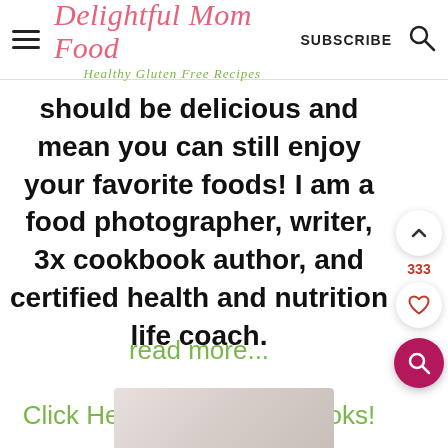Delightful Mom Food – Healthy Gluten Free Recipes | SUBSCRIBE
should be delicious and mean you can still enjoy your favorite foods! I am a food photographer, writer, 3x cookbook author, and certified health and nutrition life coach.
read more...
Click Here For My Cookbooks!
[Figure (photo): Bottom portion of a cookbook or food image, partially visible at the bottom of the page]